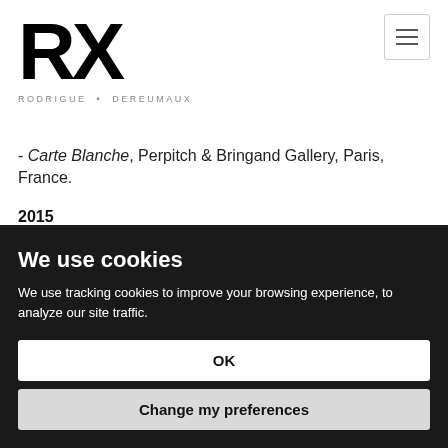RX RODRIGUE • DEREUMAUX
- Carte Blanche, Perpitch & Bringand Gallery, Paris, France.
2015
- Nervure, end of residency exhibition, ASFAP Gallery, Brussels, Belgium.
2014
We use cookies
We use tracking cookies to improve your browsing experience, to analyze our site traffic.
OK
Change my preferences